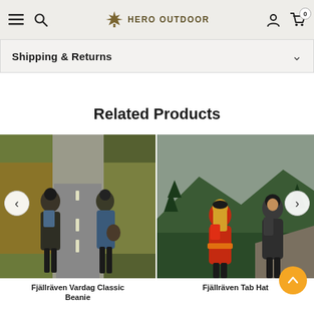Hero Outdoor navigation bar with menu, search, logo, account, and cart icons
Shipping & Returns
Related Products
[Figure (photo): Two people walking away from camera on a road through autumn foliage, wearing outdoor jackets and carrying backpacks. Product image for Fjällräven Vardag Classic Beanie.]
Fjällräven Vardag Classic Beanie
[Figure (photo): A woman in a red jacket and man hiking together in a forested mountain setting, wearing beanies and backpacks. Product image for Fjällräven Tab Hat.]
Fjällräven Tab Hat